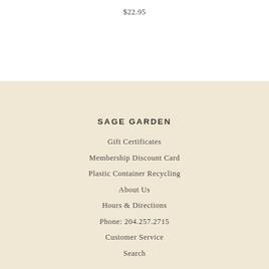$22.95
SAGE GARDEN
Gift Certificates
Membership Discount Card
Plastic Container Recycling
About Us
Hours & Directions
Phone: 204.257.2715
Customer Service
Search